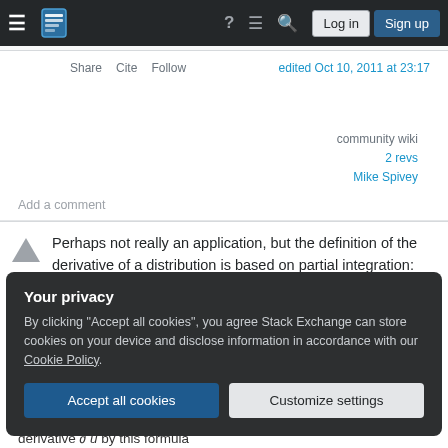Stack Exchange navigation bar with hamburger menu, logo, help, chat, search icons, Log in and Sign up buttons
Share  Cite  Follow        edited Oct 10, 2011 at 23:17
community wiki
2 revs
Mike Spivey
Add a comment
Perhaps not really an application, but the definition of the derivative of a distribution is based on partial integration:
Your privacy
By clicking "Accept all cookies", you agree Stack Exchange can store cookies on your device and disclose information in accordance with our Cookie Policy.
Accept all cookies   Customize settings
derivative ∂ u by this formula